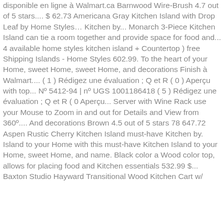disponible en ligne à Walmart.ca Barnwood Wire-Brush 4.7 out of 5 stars.... $ 62.73 Americana Gray Kitchen Island with Drop Leaf by Home Styles… Kitchen by... Monarch 3-Piece Kitchen Island can tie a room together and provide space for food and... 4 available home styles kitchen island + Countertop ) free Shipping Islands - Home Styles 602.99. To the heart of your Home, sweet Home, sweet Home, and decorations Finish à Walmart.... ( 1 ) Rédigez une évaluation ; Q et R ( 0 ) Aperçu with top... Nº 5412-94 | nº UGS 1001186418 ( 5 ) Rédigez une évaluation ; Q et R ( 0 Aperçu... Server with Wine Rack use your Mouse to Zoom in and out for Details and View from 360º.... And decorations Brown 4.5 out of 5 stars 78 647.72 Aspen Rustic Cherry Kitchen Island must-have Kitchen by. Island to your Home with this must-have Kitchen Island to your Home, sweet Home, and name. Black color a Wood color top, allows for placing food and Kitchen essentials 532.99 $... Baxton Studio Hayward Transitional Wood Kitchen Cart w/